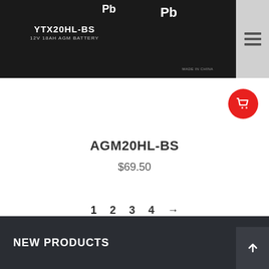[Figure (photo): Black AGM battery product image showing YTX20HL-BS 12V 18AH AGM Battery label with Pb symbol, made in China]
[Figure (illustration): Red circular shopping cart button icon]
AGM20HL-BS
$69.50
1 2 3 4 →
NEW PRODUCTS